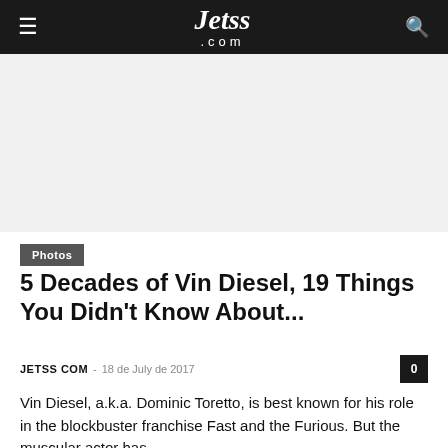Jetss .com
[Figure (other): Advertisement / blank gray area placeholder]
Photos
5 Decades of Vin Diesel, 19 Things You Didn't Know About...
JETSS COM – 18 de July de 2017   0
Vin Diesel, a.k.a. Dominic Toretto, is best known for his role in the blockbuster franchise Fast and the Furious. But the muscular actor has...